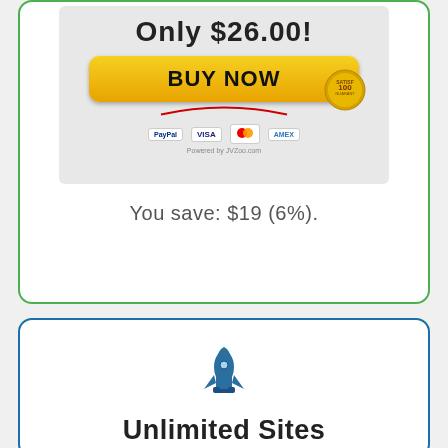[Figure (screenshot): Buy Now button with payment icons (PayPal, Visa, Mastercard, Amex) and satisfaction badge, on a gray background with price 'Only $26.00!']
You save: $19 (6%).
[Figure (illustration): Rocket/shuttle icon in blue color]
Unlimited Sites